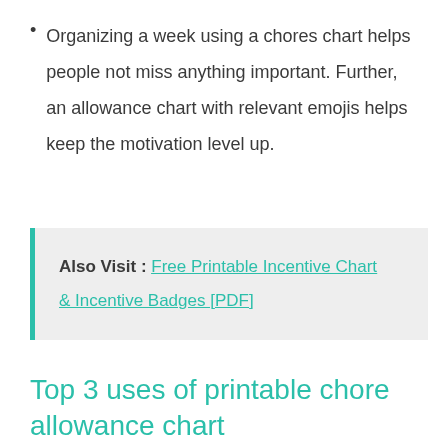Organizing a week using a chores chart helps people not miss anything important. Further, an allowance chart with relevant emojis helps keep the motivation level up.
Also Visit : Free Printable Incentive Chart & Incentive Badges [PDF]
Top 3 uses of printable chore allowance chart